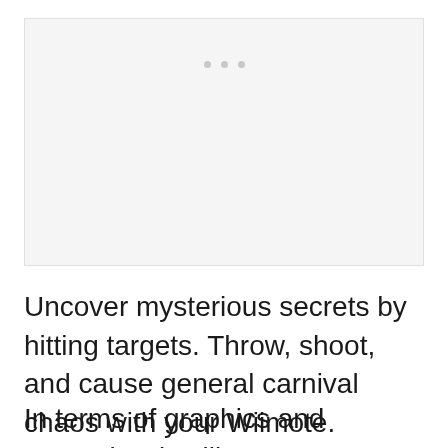[Figure (photo): Image placeholder with three small dots centered near the top, light gray background]
Uncover mysterious secrets by hitting targets. Throw, shoot, and cause general carnival chaos with your Wiimote.
In terms of graphics and gameplay, it still